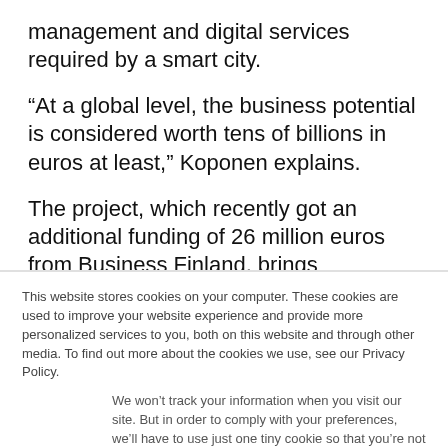management and digital services required by a smart city.
“At a global level, the business potential is considered worth tens of billions in euros at least,” Koponen explains.
The project, which recently got an additional funding of 26 million euros from Business Finland, brings
This website stores cookies on your computer. These cookies are used to improve your website experience and provide more personalized services to you, both on this website and through other media. To find out more about the cookies we use, see our Privacy Policy.
We won’t track your information when you visit our site. But in order to comply with your preferences, we’ll have to use just one tiny cookie so that you’re not asked to make this choice again.
Accept
Decline